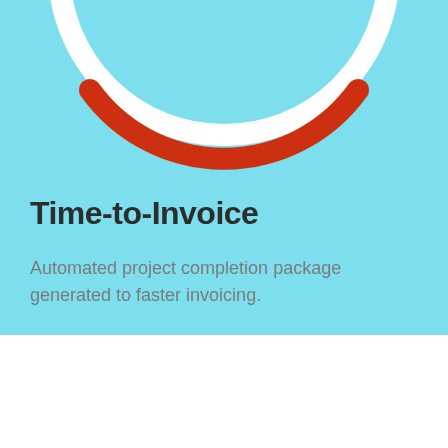[Figure (illustration): Partial circular arc illustration at top of blue section — a white circle outline with a red/orange arc segment at the bottom, cropped at the top edge of the page]
Time-to-Invoice
Automated project completion package generated to faster invoicing.